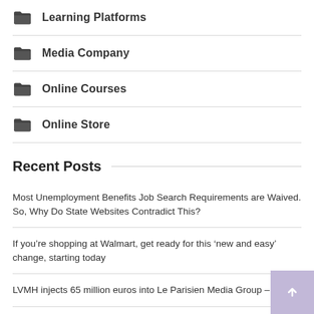Learning Platforms
Media Company
Online Courses
Online Store
Recent Posts
Most Unemployment Benefits Job Search Requirements are Waived. So, Why Do State Websites Contradict This?
If you’re shopping at Walmart, get ready for this ‘new and easy’ change, starting today
LVMH injects 65 million euros into Le Parisien Media Group – WWD
Studeasy, India’s largest free learning platform, launched for 50 million students in 10 state councils